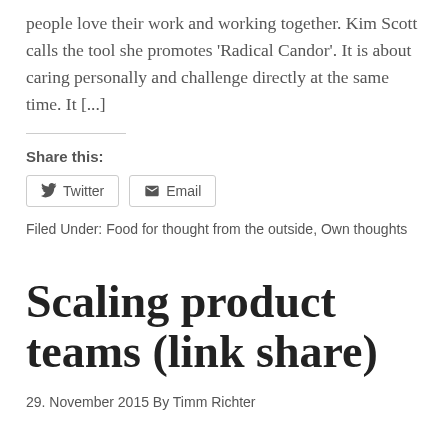people love their work and working together. Kim Scott calls the tool she promotes 'Radical Candor'. It is about caring personally and challenge directly at the same time. It [...]
Share this:
Twitter  Email
Filed Under: Food for thought from the outside, Own thoughts
Scaling product teams (link share)
29. November 2015 By Timm Richter